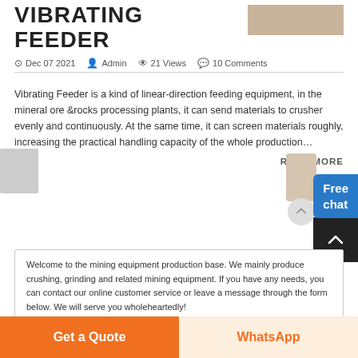VIBRATING FEEDER
Dec 07 2021   Admin   21 Views   10 Comments
Vibrating Feeder is a kind of linear-direction feeding equipment, in the mineral ore &rocks processing plants, it can send materials to crusher evenly and continuously. At the same time, it can screen materials roughly, increasing the practical handling capacity of the whole production…
READ MORE
Welcome to the mining equipment production base. We mainly produce crushing, grinding and related mining equipment. If you have any needs, you can contact our online customer service or leave a message through the form below. We will serve you wholeheartedly!
Products:
Get a Quote
WhatsApp